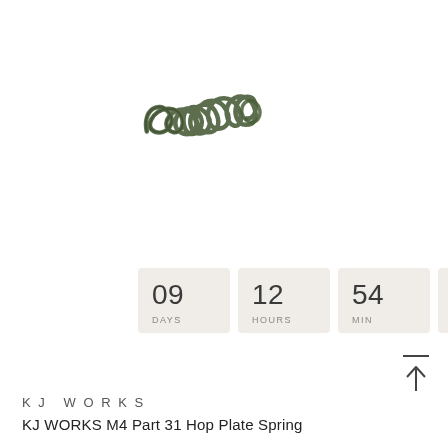[Figure (photo): A small dark green coil spring (hop plate spring) photographed on white background, angled diagonally]
09 DAYS   12 HOURS   54 MIN   02 SEC
K J  W O R K S
KJ WORKS M4 Part 31 Hop Plate Spring